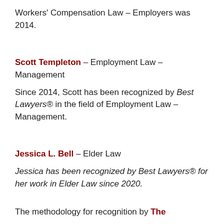Workers' Compensation Law – Employers was 2014.
Scott Templeton – Employment Law – Management
Since 2014, Scott has been recognized by Best Lawyers® in the field of Employment Law – Management.
Jessica L. Bell – Elder Law
Jessica has been recognized by Best Lawyers® for her work in Elder Law since 2020.
The methodology for recognition by The